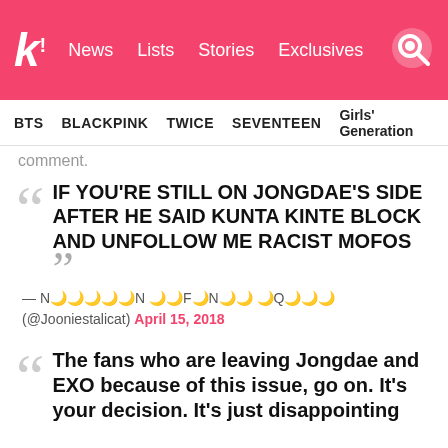k! News  Lists  Stories  Exclusives
BTS  BLACKPINK  TWICE  SEVENTEEN  Girls' Generation
comment.
IF YOU'RE STILL ON JONGDAE'S SIDE AFTER HE SAID KUNTA KINTE BLOCK AND UNFOLLOW ME RACIST MOFOS
— N🌙🌙🌙🌙🌙N 🌙🌙F🌙N🌙🌙 🌙Q🌙🌙🌙 (@Jooniestalicat) April 15, 2018
The fans who are leaving Jongdae and EXO because of this issue, go on. It's your decision. It's just disappointing